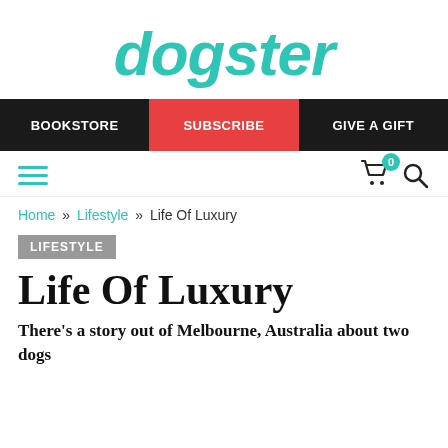[Figure (logo): Dogster magazine logo in teal/turquoise italic bold font]
BOOKSTORE | SUBSCRIBE | GIVE A GIFT
Home » Lifestyle » Life Of Luxury
LIFESTYLE
Life Of Luxury
There's a story out of Melbourne, Australia about two dogs